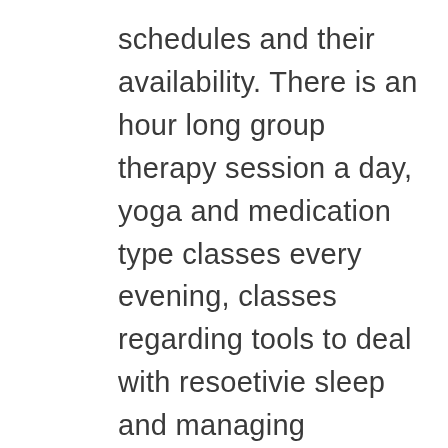schedules and their availability. There is an hour long group therapy session a day, yoga and medication type classes every evening, classes regarding tools to deal with resoetivie sleep and managing anxiety.. I am not saying it is for everybody but my person friend attended last month and she feels like she has hope for the first time sense her abuse. I will NOT be pushed to provide more info on the retreat to you guys.. as it's obviusly a private matter but i will be willing to provide the daily schedule when i return. I actually already feel